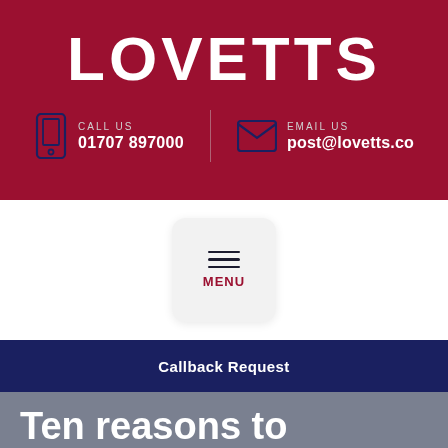LOVETTS
CALL US
01707 897000
EMAIL US
post@lovetts.co
[Figure (other): Menu button with hamburger icon and MENU label]
Callback Request
Ten reasons to